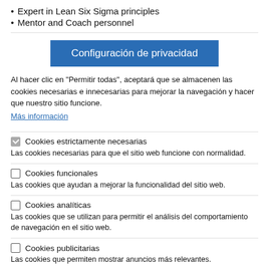Expert in Lean Six Sigma principles
Mentor and Coach personnel
Configuración de privacidad
Al hacer clic en "Permitir todas", aceptará que se almacenen las cookies necesarias e innecesarias para mejorar la navegación y hacer que nuestro sitio funcione.
Más información
Cookies estrictamente necesarias
Las cookies necesarias para que el sitio web funcione con normalidad.
Cookies funcionales
Las cookies que ayudan a mejorar la funcionalidad del sitio web.
Cookies analíticas
Las cookies que se utilizan para permitir el análisis del comportamiento de navegación en el sitio web.
Cookies publicitarias
Las cookies que permiten mostrar anuncios más relevantes.